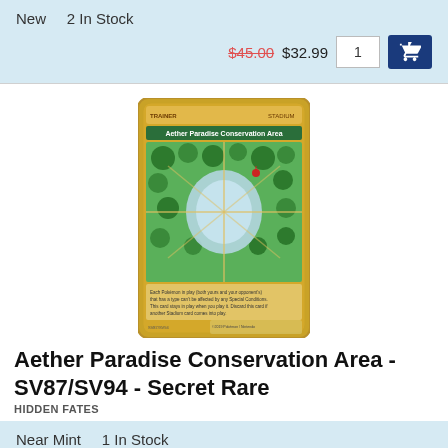New   2 In Stock
$45.00  $32.99  1  [cart button]
[Figure (photo): Pokemon TCG card: Aether Paradise Conservation Area, gold border Secret Rare, SV87/SV94, Hidden Fates set, showing aerial view of the conservation area with green trees and pathways]
Aether Paradise Conservation Area - SV87/SV94 - Secret Rare
HIDDEN FATES
Near Mint   1 In Stock
$11.07  1  [cart button]